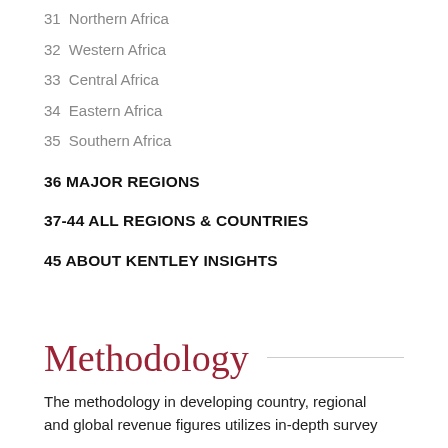31 Northern Africa
32 Western Africa
33 Central Africa
34 Eastern Africa
35 Southern Africa
36 MAJOR REGIONS
37-44 ALL REGIONS & COUNTRIES
45 ABOUT KENTLEY INSIGHTS
Methodology
The methodology in developing country, regional and global revenue figures utilizes in-depth survey